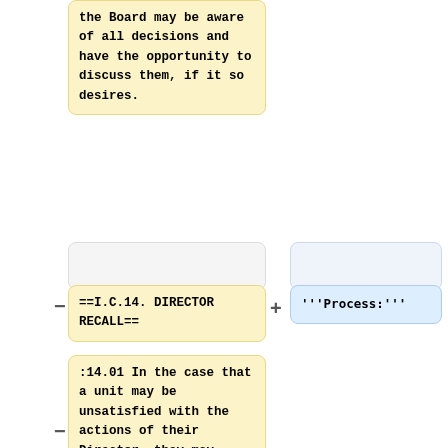the Board may be aware of all decisions and have the opportunity to discuss them, if it so desires.
==I.C.14. DIRECTOR RECALL==
'''Process:'''
:14.01 In the case that a unit may be unsatisfied with the actions of their Director, they may initiate a recall vote by collecting 25% of their unit’s member’s signatures.
:14.02 Upon meeting the threshold of 25%,